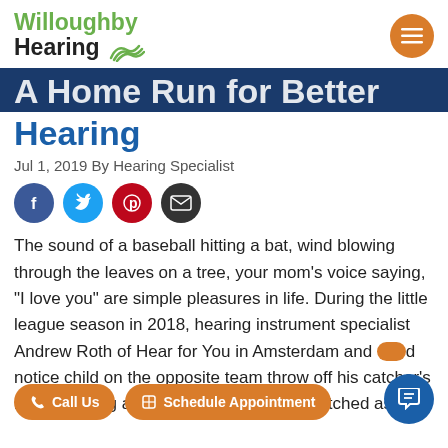Willoughby Hearing
A Home Run for Better Hearing
Jul 1, 2019 By Hearing Specialist
[Figure (other): Social share icons: Facebook, Twitter, Pinterest, Email]
The sound of a baseball hitting a bat, wind blowing through the leaves on a tree, your mom’s voice saying, “I love you” are simple pleasures in life. During the little league season in 2018, hearing instrument specialist Andrew Roth of Hear for You in Amsterdam and Sp... noticed a child on the opposite team throw off his catcher’s helmet during a play at the plate. Roth watched as the